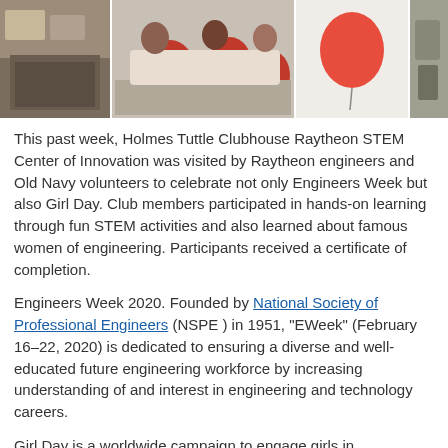[Figure (photo): Four photos in a horizontal strip showing students and volunteers participating in STEM activities at Holmes Tuttle Clubhouse Raytheon STEM Center]
This past week, Holmes Tuttle Clubhouse Raytheon STEM Center of Innovation was visited by Raytheon engineers and Old Navy volunteers to celebrate not only Engineers Week but also Girl Day. Club members participated in hands-on learning through fun STEM activities and also learned about famous women of engineering. Participants received a certificate of completion.
Engineers Week 2020. Founded by National Society of Professional Engineers (NSPE ) in 1951, "EWeek" (February 16–22, 2020) is dedicated to ensuring a diverse and well-educated future engineering workforce by increasing understanding of and interest in engineering and technology careers.
Girl Day is a worldwide campaign to engage girls in engineering. Thousands of people--engineers, educators, and others--act as Role Models , facilitate engineering activities , and educate girls about how